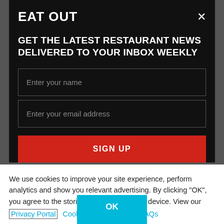EAT OUT
GET THE LATEST RESTAURANT NEWS DELIVERED TO YOUR INBOX WEEKLY
Enter your name
Enter your email address
SIGN UP
We use cookies to improve your site experience, perform analytics and show you relevant advertising. By clicking "OK", you agree to the storing of cookies on your device. View our Privacy Portal Cookie Policy & Cookie FAQs
OK